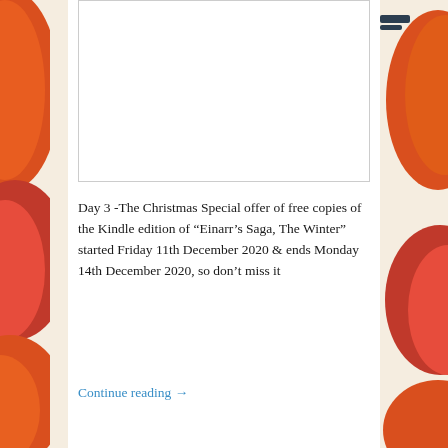[Figure (illustration): Decorative orange and red illustrated shapes/blobs on left and right margins of the page, likely part of a Christmas or festive blog theme.]
[Figure (photo): A white/blank rectangular image placeholder with a light grey border, appearing as an empty image box at the top center of the content area.]
Day 3 -The Christmas Special offer of free copies of the Kindle edition of “Einarr’s Saga, The Winter” started Friday 11th December 2020 & ends Monday 14th December 2020, so don’t miss it
Continue reading →